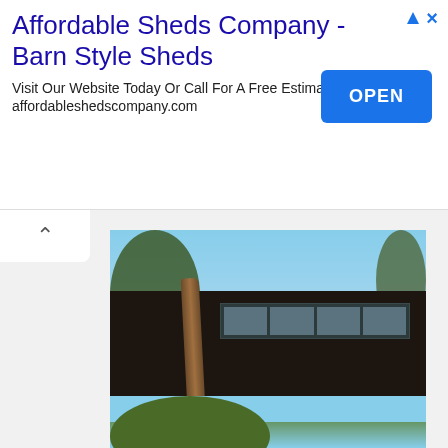Affordable Sheds Company - Barn Style Sheds
Visit Our Website Today Or Call For A Free Estimate!
affordableshedscompany.com
[Figure (photo): Modern dark-walled house with large sliding windows, fronted by a tree in a planter box, driveway in foreground, trees in background. Watermark: MUNDOFACHADAS]
[Figure (photo): Partial view of another architectural photo showing trees and sky]